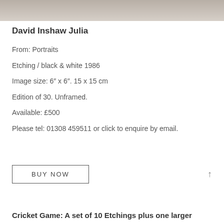[Figure (photo): Top portion of a photograph, showing upper edge of an image, muted brownish-grey tones visible.]
David Inshaw Julia
From: Portraits
Etching / black & white 1986
Image size: 6" x 6". 15 x 15 cm
Edition of 30. Unframed.
Available: £500
Please tel: 01308 459511 or click to enquire by email.
BUY NOW
Cricket Game: A set of 10 Etchings plus one larger